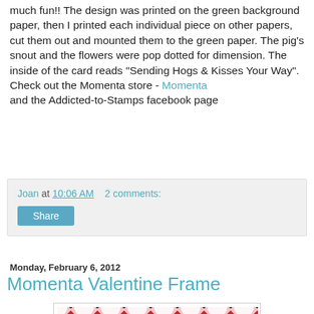much fun!! The design was printed on the green background paper, then I printed each individual piece on other papers, cut them out and mounted them to the green paper. The pig's snout and the flowers were pop dotted for dimension. The inside of the card reads "Sending Hogs & Kisses Your Way".
Check out the Momenta store - Momenta
and the Addicted-to-Stamps facebook page
Joan at 10:06 AM   2 comments:
Share
Monday, February 6, 2012
Momenta Valentine Frame
[Figure (photo): A Valentine frame craft project showing a decorative frame with pink and red geometric/floral pattern. A heart cutout is visible in the center revealing part of a photo underneath.]